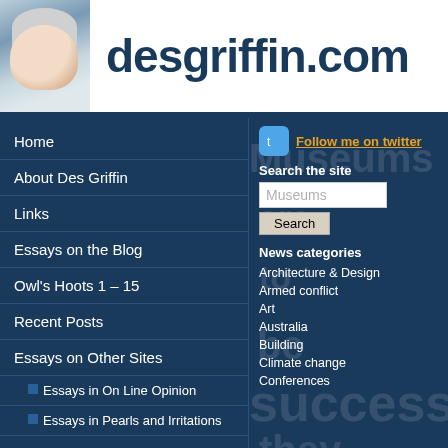desgriffin.com
Home
About Des Griffin
Links
Essays on the Blog
Owl's Hoots 1 – 15
Recent Posts
Essays on Other Sites
Essays in On Line Opinion
Essays in Pearls and Irritations
In Australia
First Nations, Museum Responsibilities: History, Truth and Symbols
Indigenous Peoples: Closing the Gap in the Face of Resilience, Courage and
Follow me on twitter
Search the site
News categories
Architecture & Design
Armed conflict
Art
Australia
Building
Climate change
Conferences